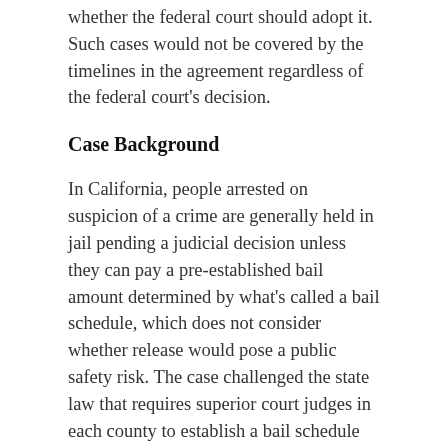whether the federal court should adopt it. Such cases would not be covered by the timelines in the agreement regardless of the federal court's decision.
Case Background
In California, people arrested on suspicion of a crime are generally held in jail pending a judicial decision unless they can pay a pre-established bail amount determined by what's called a bail schedule, which does not consider whether release would pose a public safety risk. The case challenged the state law that requires superior court judges in each county to establish a bail schedule and requires sheriff departments to release anyone who pays. Herrera and Hennessy